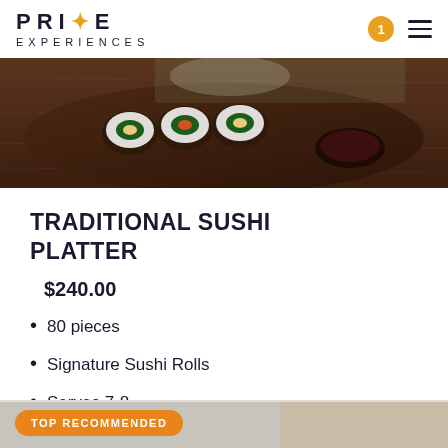PRIME EXPERIENCES
[Figure (photo): Close-up photo of sushi rolls on a dark wooden plate with sauce dish]
TRADITIONAL SUSHI PLATTER
$240.00
80 pieces
Signature Sushi Rolls
Serves 7-8
[Figure (photo): Bottom product image with TOP RECOMMENDED banner overlay]